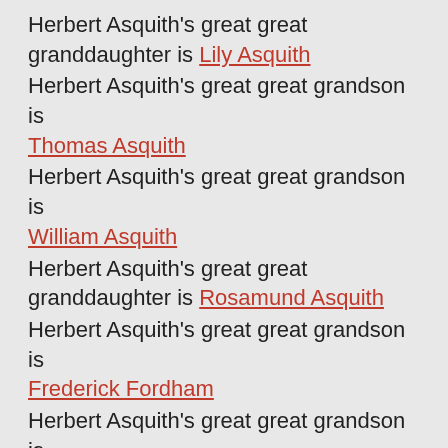Herbert Asquith's great great granddaughter is Lily Asquith
Herbert Asquith's great great grandson is Thomas Asquith
Herbert Asquith's great great grandson is William Asquith
Herbert Asquith's great great granddaughter is Rosamund Asquith
Herbert Asquith's great great grandson is Frederick Fordham
Herbert Asquith's great great grandson is Leo Fordham
Herbert Asquith's great great granddaughter is Katharine Richardson
Herbert Asquith's great great grandson is Harry Bonham Carter